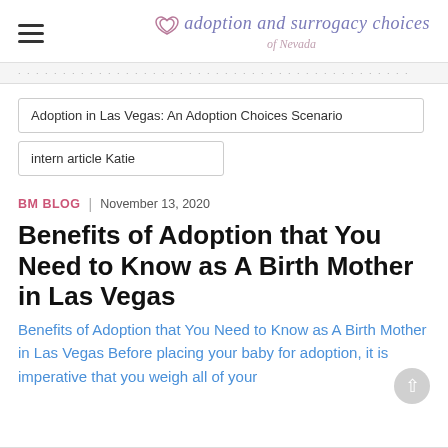adoption and surrogacy choices of Nevada
Adoption in Las Vegas: An Adoption Choices Scenario
intern article Katie
BM BLOG | November 13, 2020
Benefits of Adoption that You Need to Know as A Birth Mother in Las Vegas
Benefits of Adoption that You Need to Know as A Birth Mother in Las Vegas Before placing your baby for adoption, it is imperative that you weigh all of your